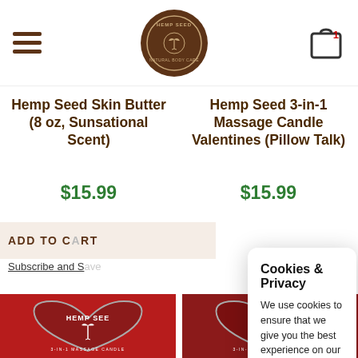Hemp Seed Natural Body Care — Navigation header with logo and cart
Hemp Seed Skin Butter (8 oz, Sunsational Scent)
$15.99
Hemp Seed 3-in-1 Massage Candle Valentines (Pillow Talk)
$15.99
ADD TO C[ART]
Subscribe and S[ave]
[Figure (photo): Heart-shaped tin candle with red background reading HEMP SEED with palm tree logo, labeled 3-IN-1 MASSAGE CANDLE at bottom]
Cookies & Privacy

We use cookies to ensure that we give you the best experience on our website. If you continue to use this site we will assume that you are happy with it.

Read More   Got it